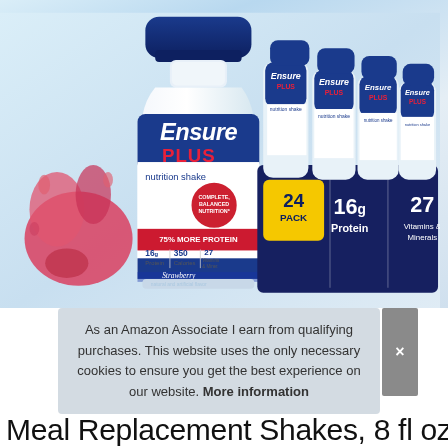[Figure (photo): Product photo of Ensure Plus Nutrition Shake bottles — one large foreground bottle labeled 'Ensure PLUS nutrition shake, Complete Balanced Nutrition, 75% More Protein, 16g Protein, 350 Calories, 27 Vitamins & Minerals, Strawberry' and four smaller bottles in a 24-pack box behind it showing '24 PACK, 16g Protein, 27 Vitamins & Minerals']
As an Amazon Associate I earn from qualifying purchases. This website uses the only necessary cookies to ensure you get the best experience on our website. More information
Meal Replacement Shakes, 8 fl oz, 24